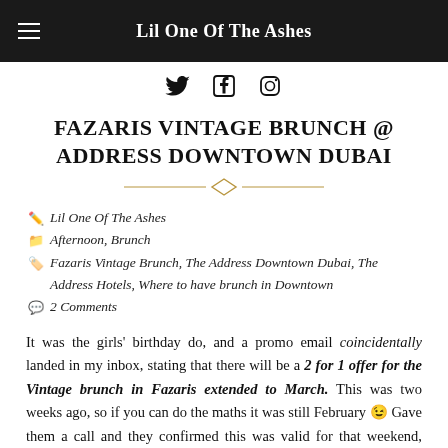Lil One Of The Ashes
[Figure (infographic): Social media icons: Twitter bird, Facebook f, Instagram camera]
FAZARIS VINTAGE BRUNCH @ ADDRESS DOWNTOWN DUBAI
Lil One Of The Ashes | Afternoon, Brunch | Fazaris Vintage Brunch, The Address Downtown Dubai, The Address Hotels, Where to have brunch in Downtown | 2 Comments
It was the girls' birthday do, and a promo email coincidentally landed in my inbox, stating that there will be a 2 for 1 offer for the Vintage brunch in Fazaris extended to March. This was two weeks ago, so if you can do the maths it was still February 😉 Gave them a call and they confirmed this was valid for that weekend, woo hoo! So happy. I booked for our